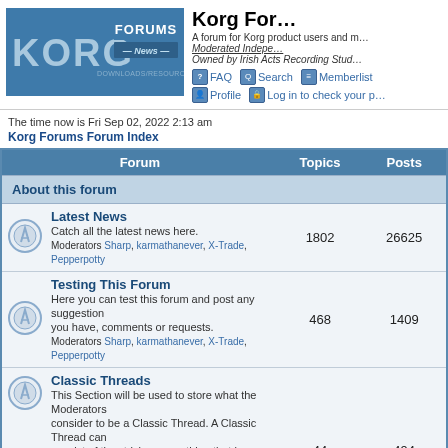[Figure (logo): Korg Forums logo — blue banner with KORG text and FORUMS / News / DOWNLOADS/RESOURCES text]
Korg Forums
A forum for Korg product users and m...
Moderated Indepe...
Owned by Irish Acts Recording Stud...
FAQ  Search  Memberlist
Profile  Log in to check your p...
The time now is Fri Sep 02, 2022 2:13 am
Korg Forums Forum Index
| Forum | Topics | Posts |
| --- | --- | --- |
| About this forum |  |  |
| Latest News
Catch all the latest news here.
Moderators Sharp, karmathanever, X-Trade, Pepperpotty | 1802 | 26625 |
| Testing This Forum
Here you can test this forum and post any suggestion you have, comments or requests.
Moderators Sharp, karmathanever, X-Trade, Pepperpotty | 468 | 1409 |
| Classic Threads
This Section will be used to store what the Moderators consider to be a Classic Thread. A Classic Thread can consist of tips, tricks, or anything that is considered to be a Classic Thread. (Only Moderators can post here).
Moderators Sharp, karmathanever, X-Trade, Pepperpotty | 44 | 494 |
| New Members Zone |  |  |